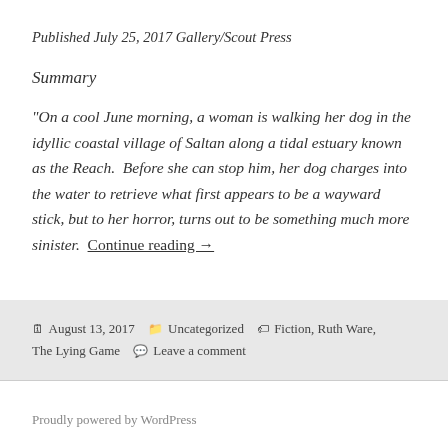Published July 25, 2017 Gallery/Scout Press
Summary
“On a cool June morning, a woman is walking her dog in the idyllic coastal village of Saltan along a tidal estuary known as the Reach.  Before she can stop him, her dog charges into the water to retrieve what first appears to be a wayward stick, but to her horror, turns out to be something much more sinister.  Continue reading →
August 13, 2017   Uncategorized   Fiction, Ruth Ware, The Lying Game   Leave a comment
Proudly powered by WordPress